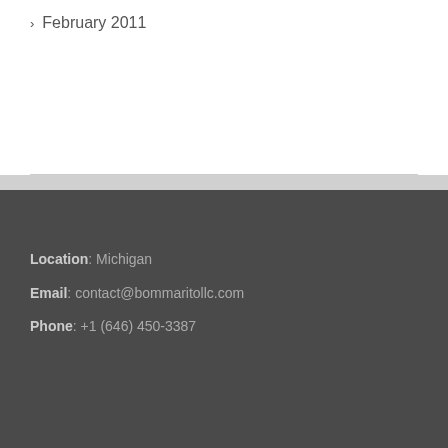February 2011
Location: Michigan
Email: contact@bommaritollc.com
Phone: +1 (646) 450-3387